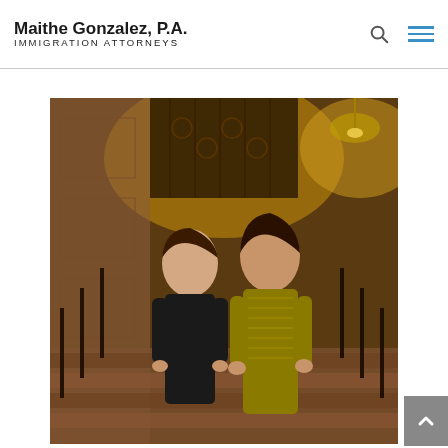Maithe Gonzalez, P.A. Immigration Attorneys
[Figure (photo): Two women in formal attire posing together at an ornate venue with decorative iron railings and warm golden lighting on a staircase.]